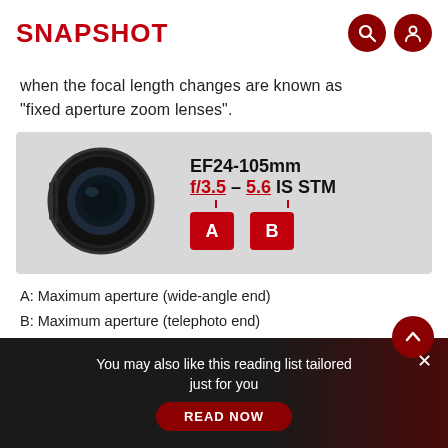SNAPSHOT
when the focal length changes are known as “fixed aperture zoom lenses”.
[Figure (infographic): Canon EF24-105mm f/3.5-5.6 IS STM lens diagram with a photo of the lens on the left and labeled aperture values f/3.5 (A: wide-angle end) and f/5.6 (B: telephoto end) on the right with red label boxes.]
A: Maximum aperture (wide-angle end)
B: Maximum aperture (telephoto end)
You may also like this reading list tailored just for you
READ NOW